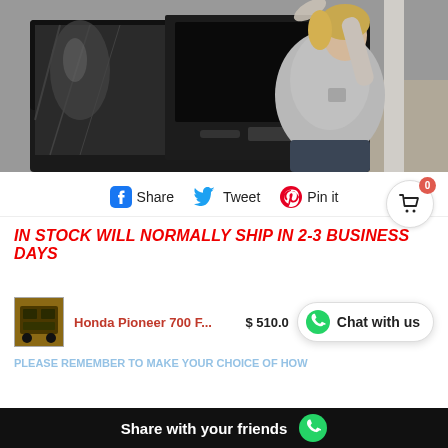[Figure (photo): A woman in a grey t-shirt lifting the door or cover of a black vehicle, standing outside near gravel.]
Share  Tweet  Pin it
IN STOCK WILL NORMALLY SHIP IN 2-3 BUSINESS DAYS
PLEASE NOTE ....As of 1/8/21 WE WILL NO LONGER
Honda Pioneer 700 F...  $ 510.0
Chat with us
PLEASE REMEMBER TO MAKE YOUR CHOICE OF HOW
Share with your friends